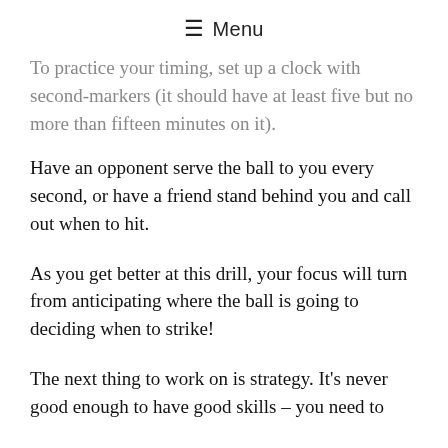≡ Menu
To practice your timing, set up a clock with second-markers (it should have at least five but no more than fifteen minutes on it).
Have an opponent serve the ball to you every second, or have a friend stand behind you and call out when to hit.
As you get better at this drill, your focus will turn from anticipating where the ball is going to deciding when to strike!
The next thing to work on is strategy. It's never good enough to have good skills – you need to